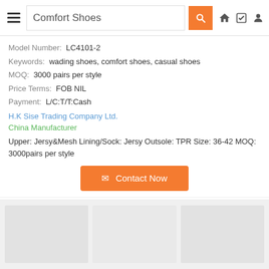Comfort Shoes
Model Number: LC4101-2
Keywords: wading shoes, comfort shoes, casual shoes
MOQ: 3000 pairs per style
Price Terms: FOB NIL
Payment: L/C:T/T:Cash
H.K Sise Trading Company Ltd.
China Manufacturer
Upper: Jersy&Mesh Lining/Sock: Jersy Outsole: TPR Size: 36-42 MOQ: 3000pairs per style
[Figure (other): Three product image placeholders in a row at the bottom of the page]